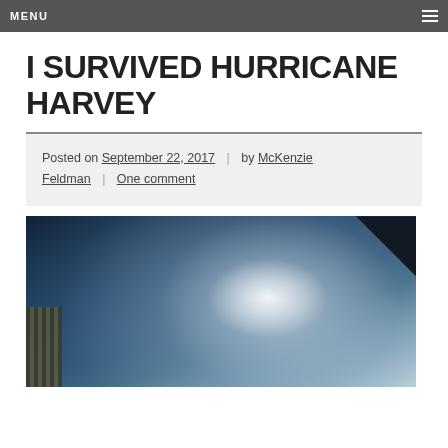MENU
I SURVIVED HURRICANE HARVEY
Posted on September 22, 2017 | by McKenzie Feldman | One comment
[Figure (photo): Satellite photograph of Hurricane Harvey from space, showing the swirling storm system over the Gulf Coast, with a solar panel visible in the lower left corner and the curvature of the Earth visible.]